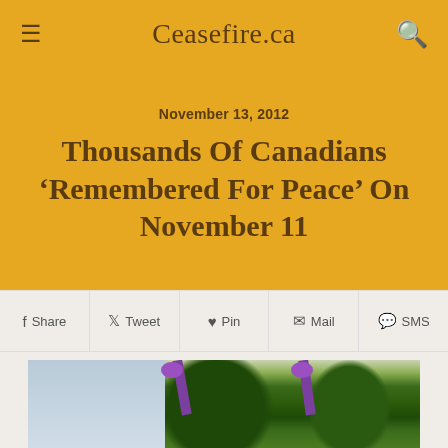Ceasefire.ca
November 13, 2012
Thousands Of Canadians ‘Remembered For Peace’ On November 11
Share  Tweet  Pin  Mail  SMS
[Figure (photo): Green wreaths with purple ribbon bows leaning against a stone wall, with a blurred outdoor background.]